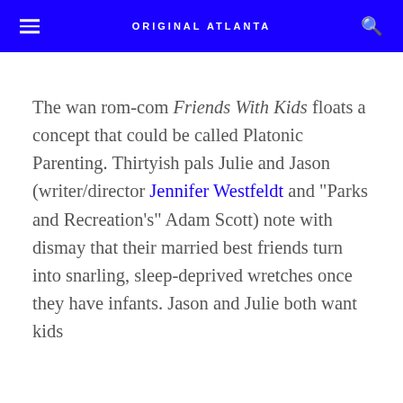ORIGINAL ATLANTA
The wan rom-com Friends With Kids floats a concept that could be called Platonic Parenting. Thirtyish pals Julie and Jason (writer/director Jennifer Westfeldt and "Parks and Recreation's" Adam Scott) note with dismay that their married best friends turn into snarling, sleep-deprived wretches once they have infants. Jason and Julie both want kids